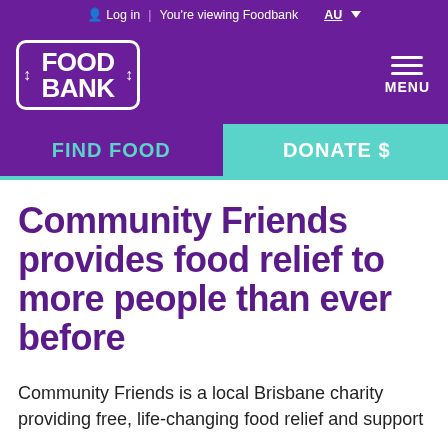Log in | You're viewing Foodbank AU
[Figure (logo): Foodbank logo - white text on purple background with bracket border and arrows]
MENU
FIND FOOD
DONATE $
Community Friends provides food relief to more people than ever before
Community Friends is a local Brisbane charity providing free, life-changing food relief and support